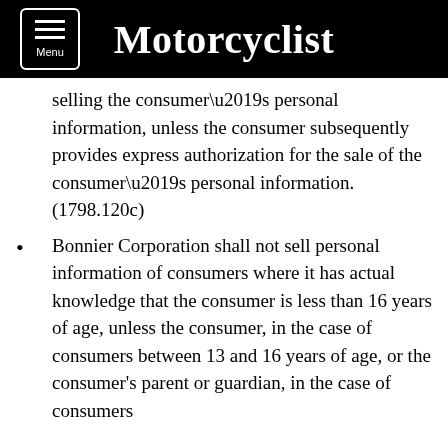Motorcyclist
selling the consumer’s personal information, unless the consumer subsequently provides express authorization for the sale of the consumer’s personal information. (1798.120c)
Bonnier Corporation shall not sell personal information of consumers where it has actual knowledge that the consumer is less than 16 years of age, unless the consumer, in the case of consumers between 13 and 16 years of age, or the consumer’s parent or guardian, in the case of consumers